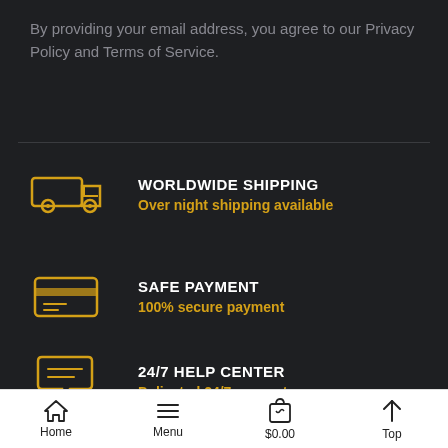By providing your email address, you agree to our Privacy Policy and Terms of Service.
[Figure (infographic): Worldwide Shipping icon: yellow delivery truck outline]
WORLDWIDE SHIPPING
Over night shipping available
[Figure (infographic): Safe Payment icon: yellow credit card outline]
SAFE PAYMENT
100% secure payment
[Figure (infographic): 24/7 Help Center icon: yellow chat/message bubble outline]
24/7 HELP CENTER
Delicated 24/7 support
Home  Menu  $0.00  Top